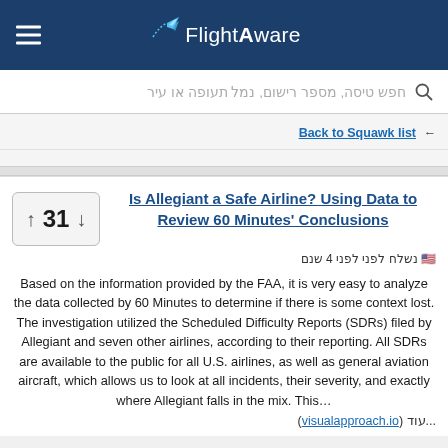FlightAware
חפש טיסה, מספר רישום, נמל תעופה או עיר
Back to Squawk list ←
Is Allegiant a Safe Airline? Using Data to Review 60 Minutes' Conclusions
נשלח לפני לפני 4 שנם 🇺🇸
Based on the information provided by the FAA, it is very easy to analyze the data collected by 60 Minutes to determine if there is some context lost. The investigation utilized the Scheduled Difficulty Reports (SDRs) filed by Allegiant and seven other airlines, according to their reporting. All SDRs are available to the public for all U.S. airlines, as well as general aviation aircraft, which allows us to look at all incidents, their severity, and exactly where Allegiant falls in the mix. This...
עוד... (visualapproach.io)